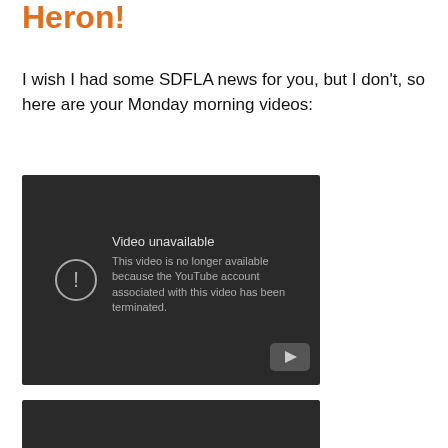Heron!
I wish I had some SDFLA news for you, but I don't, so here are your Monday morning videos:
[Figure (screenshot): YouTube video embed showing 'Video unavailable' error message: 'This video is no longer available because the YouTube account associated with this video has been terminated.']
[Figure (screenshot): Second YouTube video embed showing 'Video unavailable' error message (partially visible at bottom of page).]